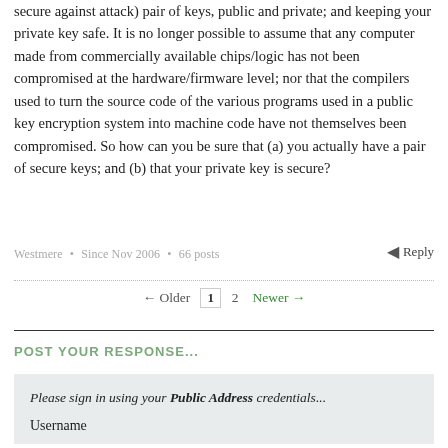secure against attack) pair of keys, public and private; and keeping your private key safe. It is no longer possible to assume that any computer made from commercially available chips/logic has not been compromised at the hardware/firmware level; nor that the compilers used to turn the source code of the various programs used in a public key encryption system into machine code have not themselves been compromised. So how can you be sure that (a) you actually have a pair of secure keys; and (b) that your private key is secure?
Westmere • Since Nov 2006 • 66 posts
Reply
← Older  1  2  Newer →
POST YOUR RESPONSE...
Please sign in using your Public Address credentials...
Username